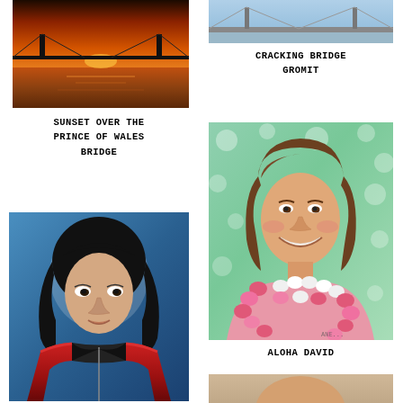[Figure (photo): Painting of a sunset over a bridge (Prince of Wales Bridge), warm orange and golden tones reflected in water]
SUNSET OVER THE PRINCE OF WALES BRIDGE
[Figure (photo): Partial image at top right, appears to be related to Cracking Bridge Gromit]
CRACKING BRIDGE GROMIT
[Figure (photo): Portrait painting of a person with long dark hair wearing a red jacket, resembling Michael Jackson in a blue background]
[Figure (photo): Portrait painting of a smiling young person with brown hair wearing a floral lei (pink and white flowers) against a green polka-dot background]
ALOHA DAVID
[Figure (photo): Partial view of another portrait at bottom right of page]